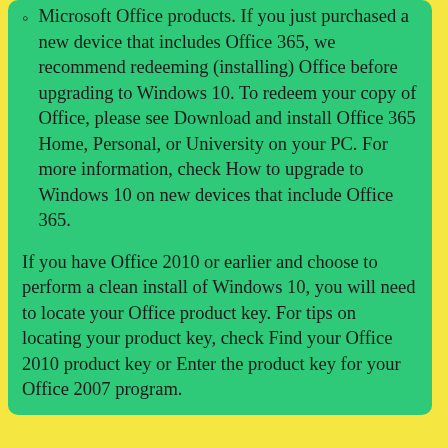Microsoft Office products. If you just purchased a new device that includes Office 365, we recommend redeeming (installing) Office before upgrading to Windows 10. To redeem your copy of Office, please see Download and install Office 365 Home, Personal, or University on your PC. For more information, check How to upgrade to Windows 10 on new devices that include Office 365.
If you have Office 2010 or earlier and choose to perform a clean install of Windows 10, you will need to locate your Office product key. For tips on locating your product key, check Find your Office 2010 product key or Enter the product key for your Office 2007 program.